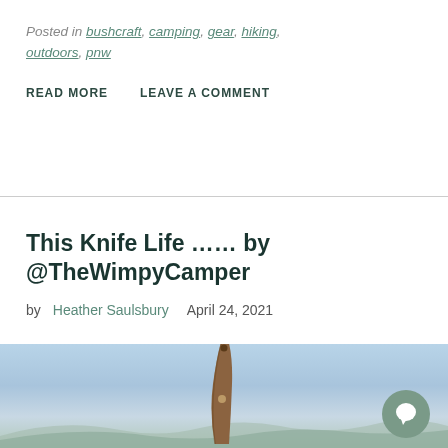Posted in bushcraft, camping, gear, hiking, outdoors, pnw
READ MORE   LEAVE A COMMENT
This Knife Life …… by @TheWimpyCamper
by Heather Saulsbury  April 24, 2021
[Figure (photo): Photo of a wooden knife handle against a blue sky with mountain silhouette in the background. A chat button (circular, sage green with white speech bubble icon) is visible in the lower right.]